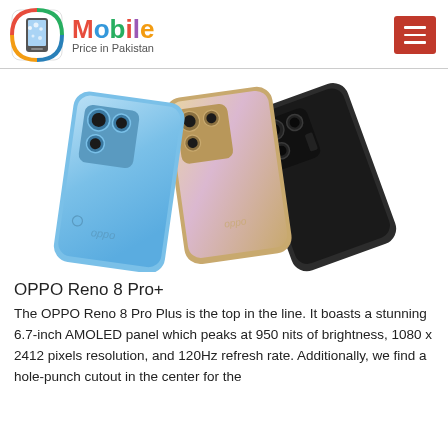Mobile Price in Pakistan
[Figure (photo): Three OPPO Reno 8 Pro+ smartphones shown from the back in blue, gold/purple, and black colorways, fanned out diagonally]
OPPO Reno 8 Pro+
The OPPO Reno 8 Pro Plus is the top in the line. It boasts a stunning 6.7-inch AMOLED panel which peaks at 950 nits of brightness, 1080 x 2412 pixels resolution, and 120Hz refresh rate. Additionally, we find a hole-punch cutout in the center for the